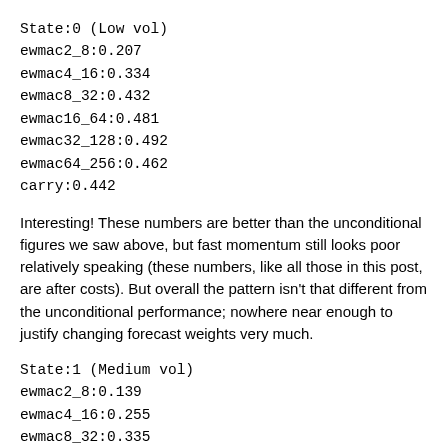State:0  (Low vol)
ewmac2_8:0.207
ewmac4_16:0.334
ewmac8_32:0.432
ewmac16_64:0.481
ewmac32_128:0.492
ewmac64_256:0.462
carry:0.442
Interesting! These numbers are better than the unconditional figures we saw above, but fast momentum still looks poor relatively speaking (these numbers, like all those in this post, are after costs). But overall the pattern isn't that different from the unconditional performance; nowhere near enough to justify changing forecast weights very much.
State:1 (Medium vol)
ewmac2_8:0.139
ewmac4_16:0.255
ewmac8_32:0.335
ewmac16_64:0.380